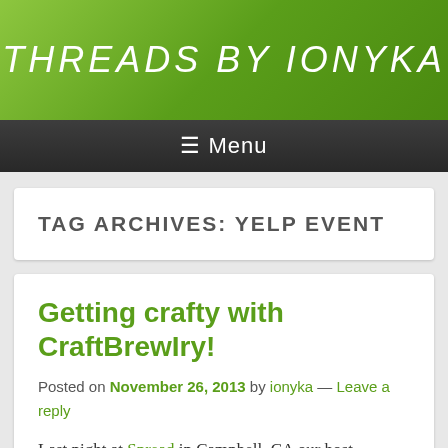THREADS BY IONYKA
≡ Menu
TAG ARCHIVES: YELP EVENT
Getting crafty with CraftBrewIry!
Posted on November 26, 2013 by ionyka — Leave a reply
Last night at Spread in Campbell, CA our host